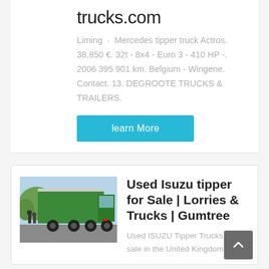trucks.com
Liming · Mercedes tipper truck Actros. 38,850 €. 32t - 8x4 - Euro 3 - 410 HP -. 2006 395 901 km. Belgium - Wingene. Contact. 13. DEGROOTE TRUCKS & TRAILERS.
learn More
[Figure (photo): Green Isuzu tipper truck viewed from rear-left angle in a parking/event setting]
Used Isuzu tipper for Sale | Lorries & Trucks | Gumtree
Used ISUZU Tipper Trucks for sale in the United Kingdom